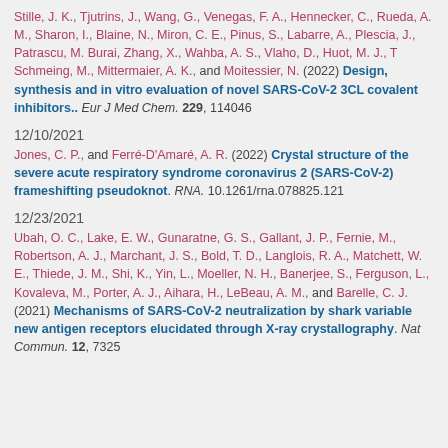Stille, J. K., Tjutrins, J., Wang, G., Venegas, F. A., Hennecker, C., Rueda, A. M., Sharon, I., Blaine, N., Miron, C. E., Pinus, S., Labarre, A., Plescia, J., Patrascu, M. Burai, Zhang, X., Wahba, A. S., Vlaho, D., Huot, M. J., T Schmeing, M., Mittermaier, A. K., and Moitessier, N. (2022) Design, synthesis and in vitro evaluation of novel SARS-CoV-2 3CL covalent inhibitors.. Eur J Med Chem. 229, 114046
12/10/2021
Jones, C. P., and Ferré-D'Amaré, A. R. (2022) Crystal structure of the severe acute respiratory syndrome coronavirus 2 (SARS-CoV-2) frameshifting pseudoknot. RNA. 10.1261/rna.078825.121
12/23/2021
Ubah, O. C., Lake, E. W., Gunaratne, G. S., Gallant, J. P., Fernie, M., Robertson, A. J., Marchant, J. S., Bold, T. D., Langlois, R. A., Matchett, W. E., Thiede, J. M., Shi, K., Yin, L., Moeller, N. H., Banerjee, S., Ferguson, L., Kovaleva, M., Porter, A. J., Aihara, H., LeBeau, A. M., and Barelle, C. J. (2021) Mechanisms of SARS-CoV-2 neutralization by shark variable new antigen receptors elucidated through X-ray crystallography. Nat Commun. 12, 7325